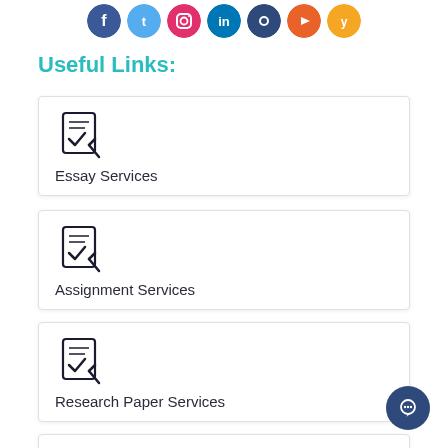[Figure (illustration): Row of seven colored social media icon circles (Facebook blue, Twitter light blue, Instagram orange-pink, LinkedIn blue, another dark blue, YouTube red-orange, and a gold/yellow circle)]
Useful Links:
Essay Services
Assignment Services
Research Paper Services
[Figure (illustration): Partial fourth card with clipboard/checklist icon visible at bottom of page]